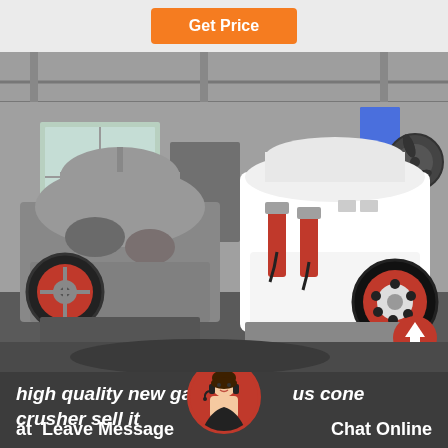Get Price
[Figure (photo): Industrial workshop with two cone crushers side by side: one older/worn grey metal machine on the left with a red flywheel, and one newer white hydraulic cone crusher on the right with red hydraulic cylinders and red flywheel, inside a metal-roofed factory building.]
high quality new gangue cone crusher sell it at Leave Message Chat Online